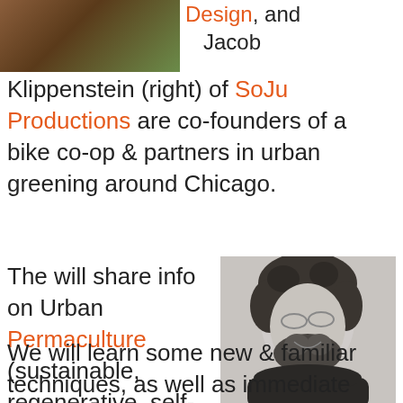[Figure (photo): Partial photo of a person with a horse or animal, cropped at top-left corner]
Design, and Jacob Klippenstein (right) of SoJu Productions are co-founders of a bike co-op & partners in urban greening around Chicago.
[Figure (photo): Black and white portrait of a young man with curly hair, beard, and glasses, smiling]
The will share info on Urban Permaculture (sustainable, regenerative, self-sufficient agriculture).
We will learn some new & familiar techniques, as well as immediate applications that can have major positive